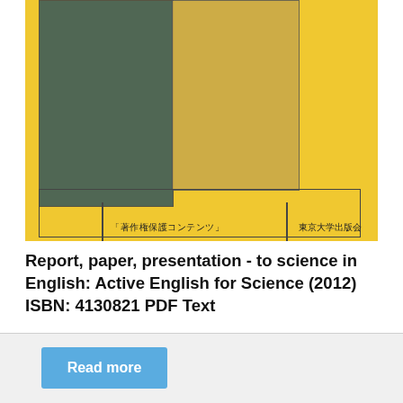[Figure (illustration): Book cover illustration on yellow background with dark teal and tan rectangular panels, Japanese text at the bottom reading '著作権保護コンテンツ' and '東京大学出版会']
Report, paper, presentation - to science in English: Active English for Science (2012) ISBN: 4130821 PDF Text
Read more